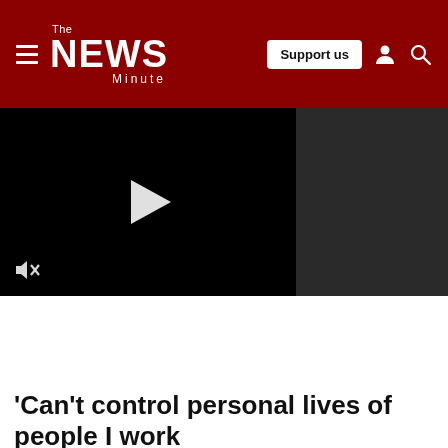The News Minute — Support us
[Figure (screenshot): Video player with black background, white play button triangle in center, mute icon in bottom left, and dark grey sidebar panel on the right]
'Can't control personal lives of people I work